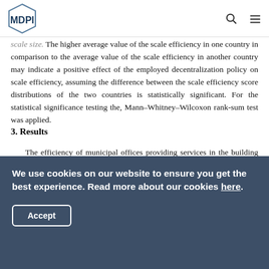MDPI
scale size. The higher average value of the scale efficiency in one country in comparison to the average value of the scale efficiency in another country may indicate a positive effect of the employed decentralization policy on scale efficiency, assuming the difference between the scale efficiency score distributions of the two countries is statistically significant. For the statistical significance testing the, Mann–Whitney–Wilcoxon rank-sum test was applied.
3. Results
The efficiency of municipal offices providing services in the building order sector has been analyzed on a 2014 data sample of 37 offices of the Niece Region (VR) comprising 359
We use cookies on our website to ensure you get the best experience. Read more about our cookies here.
Accept